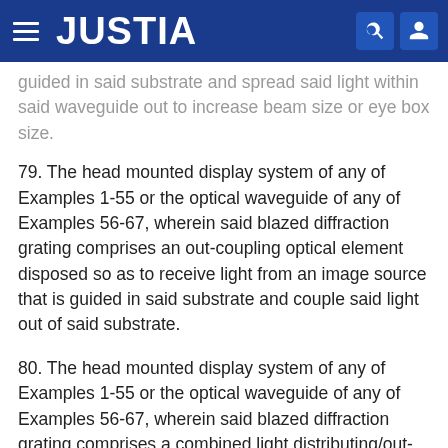JUSTIA
guided in said substrate and spread said light within said waveguide out to increase beam size or eye box size.
79. The head mounted display system of any of Examples 1-55 or the optical waveguide of any of Examples 56-67, wherein said blazed diffraction grating comprises an out-coupling optical element disposed so as to receive light from an image source that is guided in said substrate and couple said light out of said substrate.
80. The head mounted display system of any of Examples 1-55 or the optical waveguide of any of Examples 56-67, wherein said blazed diffraction grating comprises a combined light distributing/out-coupling optical element disposed so as to receive light from an image source that is guided in said substrate, spread